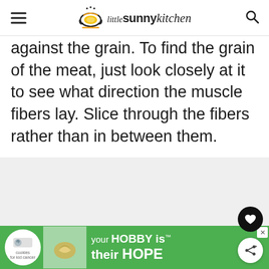little sunny kitchen
against the grain. To find the grain of the meat, just look closely at it to see what direction the muscle fibers lay. Slice through the fibers rather than in between them.
[Figure (photo): Light gray rectangular image placeholder area]
[Figure (screenshot): Advertisement banner: cookies for kid cancer – your HOBBY is their HOPE, green background with photo of hands holding a heart-shaped cookie]